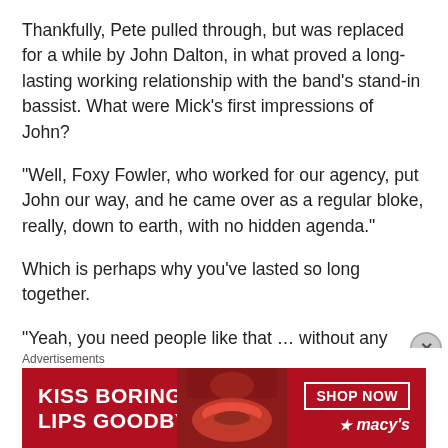Thankfully, Pete pulled through, but was replaced for a while by John Dalton, in what proved a long-lasting working relationship with the band's stand-in bassist. What were Mick's first impressions of John?
“Well, Foxy Fowler, who worked for our agency, put John our way, and he came over as a regular bloke, really, down to earth, with no hidden agenda.”
Which is perhaps why you’ve lasted so long together.
“Yeah, you need people like that … without any delusions!”
I mentioned the Face to Face album in 1966, and then came the wonderful Something Else (1967), the ev—
Advertisements
[Figure (photo): Advertisement banner: 'KISS BORING LIPS GOODBYE' with a woman's face showing red lips, SHOP NOW button, and Macy's logo on a red background.]